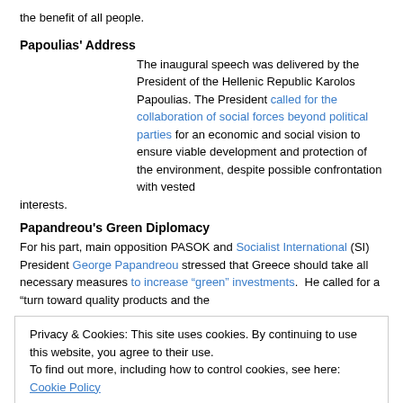the benefit of all people.
Papoulias' Address
The inaugural speech was delivered by the President of the Hellenic Republic Karolos Papoulias. The President called for the collaboration of social forces beyond political parties for an economic and social vision to ensure viable development and protection of the environment, despite possible confrontation with vested interests.
Papandreou's Green Diplomacy
For his part, main opposition PASOK and Socialist International (SI) President George Papandreou stressed that Greece should take all necessary measures to increase “green” investments.  He called for a “turn toward quality products and the
Privacy & Cookies: This site uses cookies. By continuing to use this website, you agree to their use.
To find out more, including how to control cookies, see here: Cookie Policy
Close and accept